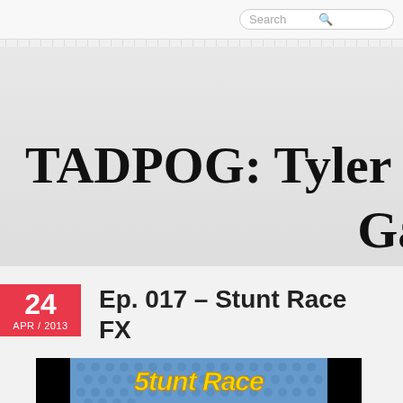Search
TADPOG: Tyler and Da Games
Two old guys talk about old ga…
24 APR / 2013
Ep. 017 – Stunt Race FX
[Figure (screenshot): Stunt Race FX game title screen showing yellow stylized text on blue dotted background with black side bars]